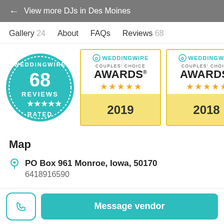← View more DJs in Des Moines
Gallery 24   About   FAQs   Reviews 68
[Figure (logo): WeddingWire circular badge showing 68 Reviews, 5 stars, Rated]
[Figure (logo): WeddingWire Couples Choice Awards 2019, 5 stars]
[Figure (logo): WeddingWire Couples Choice Awards 2018, 5 stars]
Map
PO Box 961 Monroe, Iowa, 50170
6418916590
Message vendor